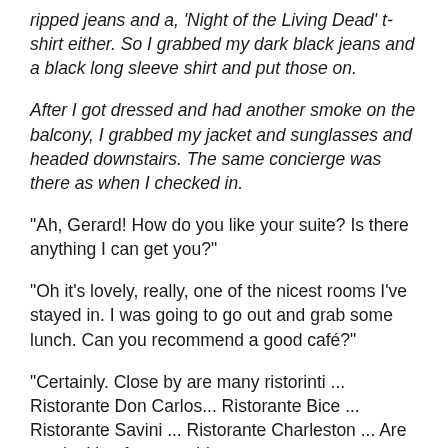ripped jeans and a, 'Night of the Living Dead' t-shirt either. So I grabbed my dark black jeans and a black long sleeve shirt and put those on.
After I got dressed and had another smoke on the balcony, I grabbed my jacket and sunglasses and headed downstairs. The same concierge was there as when I checked in.
"Ah, Gerard! How do you like your suite? Is there anything I can get you?"
"Oh it's lovely, really, one of the nicest rooms I've stayed in. I was going to go out and grab some lunch. Can you recommend a good café?"
"Certainly. Close by are many ristorinti ... Ristorante Don Carlos... Ristorante Bice ... Ristorante Savini ... Ristorante Charleston ... Are you looking for something